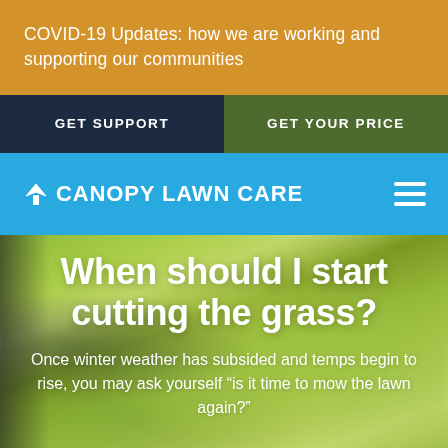COVID-19 Updates: how we are working and supporting our communities
GET SUPPORT
GET YOUR PRICE
[Figure (logo): Canopy Lawn Care logo with hamburger menu icon on blue background]
When should I start cutting the grass?
Once winter weather has subsided and temps begin to rise, you may ask yourself “is it time to mow the lawn again?"